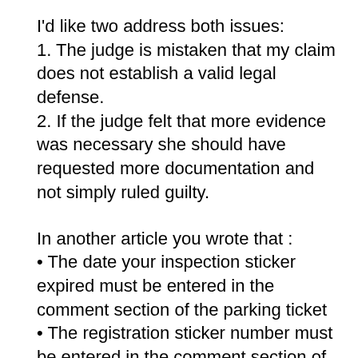I'd like two address both issues:
1. The judge is mistaken that my claim does not establish a valid legal defense.
2. If the judge felt that more evidence was necessary she should have requested more documentation and not simply ruled guilty.
In another article you wrote that :
• The date your inspection sticker expired must be entered in the comment section of the parking ticket
• The registration sticker number must be entered in the comment section of the parking ticket for an expired registration sticker violation